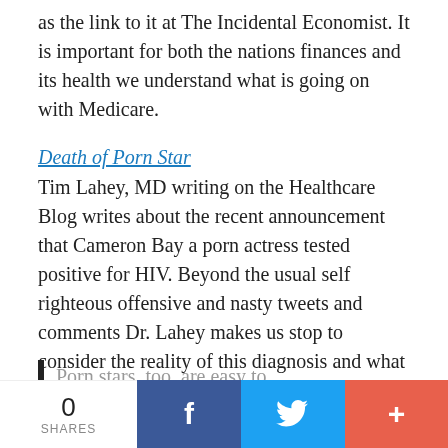as the link to it at The Incidental Economist. It is important for both the nations finances and its health we understand what is going on with Medicare.
Death of Porn Star
Tim Lahey, MD writing on the Healthcare Blog writes about the recent announcement that Cameron Bay a porn actress tested positive for HIV. Beyond the usual self righteous offensive and nasty tweets and comments Dr. Lahey makes us stop to consider the reality of this diagnosis and what it means.
Porn stars, too, are easy to
0 SHARES  f  [twitter]  +